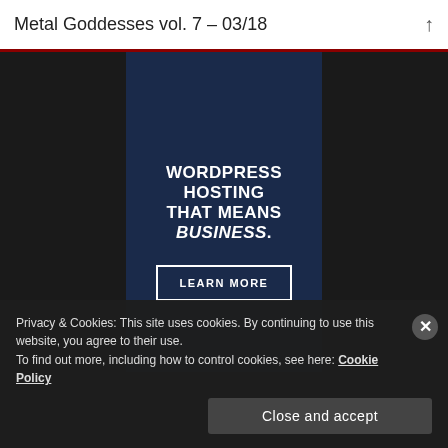Metal Goddesses vol. 7 – 03/18
[Figure (illustration): Advertisement banner for WordPress hosting on a dark navy background with bold white text reading 'WORDPRESS HOSTING THAT MEANS BUSINESS.' and a 'LEARN MORE' button with a white border.]
Privacy & Cookies: This site uses cookies. By continuing to use this website, you agree to their use.
To find out more, including how to control cookies, see here: Cookie Policy
Close and accept